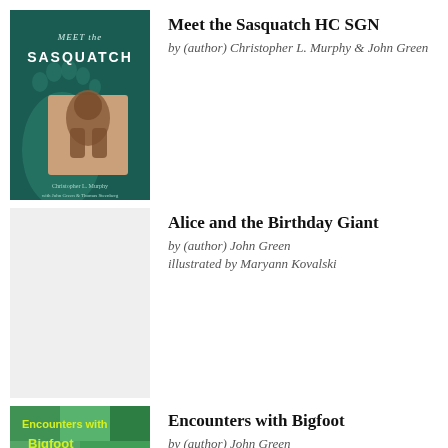[Figure (photo): Book cover of 'Meet the Sasquatch' showing a large footprint and a blurry figure, teal/dark green background, author Christopher L. Murphy]
Meet the Sasquatch HC SGN
by (author) Christopher L. Murphy & John Green
[Figure (photo): Placeholder book cover (light gray) for 'Alice and the Birthday Giant']
Alice and the Birthday Giant
by (author) John Green
illustrated by Maryann Kovalski
[Figure (photo): Partial book cover of 'Encounters with Bigfoot' with yellow-green text on colorful background]
Encounters with Bigfoot
by (author) John Green